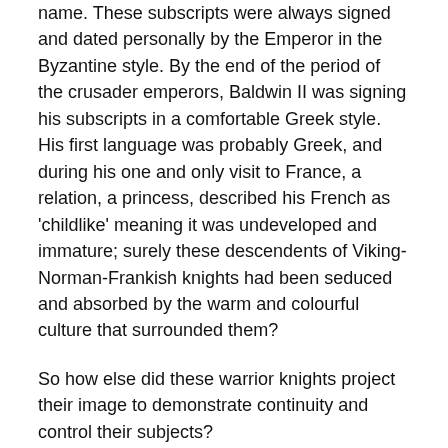name. These subscripts were always signed and dated personally by the Emperor in the Byzantine style. By the end of the period of the crusader emperors, Baldwin II was signing his subscripts in a comfortable Greek style. His first language was probably Greek, and during his one and only visit to France, a relation, a princess, described his French as 'childlike' meaning it was undeveloped and immature; surely these descendents of Viking-Norman-Frankish knights had been seduced and absorbed by the warm and colourful culture that surrounded them?
So how else did these warrior knights project their image to demonstrate continuity and control their subjects?
Use of Seals
Of the few identifiable symbols to have survived to this day, the seals used by the Crusader Emperors are